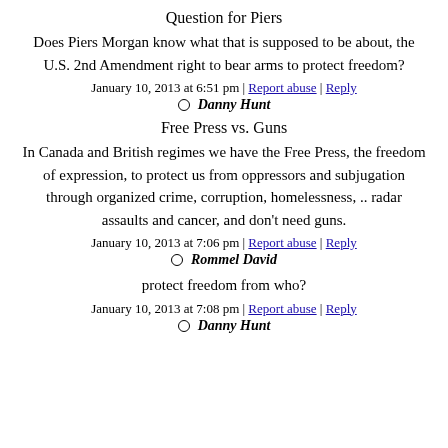keeping hand guns for hunting; it's about protecting freedom.
Question for Piers
Does Piers Morgan know what that is supposed to be about, the U.S. 2nd Amendment right to bear arms to protect freedom?
January 10, 2013 at 6:51 pm | Report abuse | Reply
Danny Hunt
Free Press vs. Guns
In Canada and British regimes we have the Free Press, the freedom of expression, to protect us from oppressors and subjugation through organized crime, corruption, homelessness, .. radar assaults and cancer, and don't need guns.
January 10, 2013 at 7:06 pm | Report abuse | Reply
Rommel David
protect freedom from who?
January 10, 2013 at 7:08 pm | Report abuse | Reply
Danny Hunt